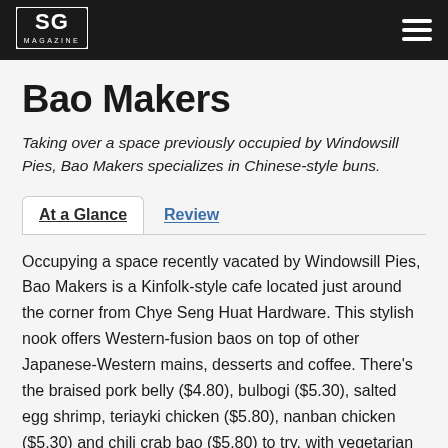SG MAGAZINE
Bao Makers
Taking over a space previously occupied by Windowsill Pies, Bao Makers specializes in Chinese-style buns.
Occupying a space recently vacated by Windowsill Pies, Bao Makers is a Kinfolk-style cafe located just around the corner from Chye Seng Huat Hardware. This stylish nook offers Western-fusion baos on top of other Japanese-Western mains, desserts and coffee. There's the braised pork belly ($4.80), bulbogi ($5.30), salted egg shrimp, teriayki chicken ($5.80), nanban chicken ($5.30) and chili crab bao ($5.80) to try, with vegetarian